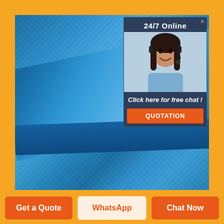[Figure (photo): Close-up photo of blue woven PVC tarpaulin fabric with textured surface, showing a folded edge. Overlaid with a customer service chat popup box featuring a woman with headset, '24/7 Online' header, 'Click here for free chat!' text, and an orange QUOTATION button.]
24/7 Online
Click here for free chat !
QUOTATION
Get a Quote
WhatsApp
Chat Now